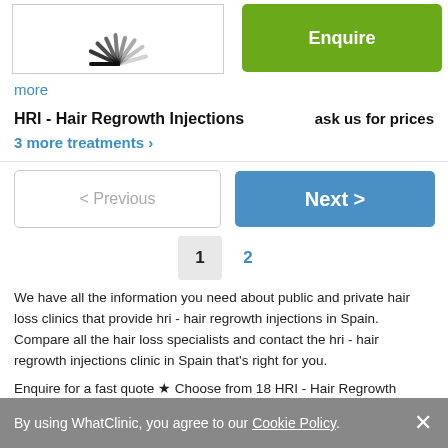[Figure (illustration): Partial loading spinner/animation icon visible at top, black lines radiating from bottom-left corner]
Enquire
more
HRI - Hair Regrowth Injections
ask us for prices
3 more treatments >
< Previous
Next >
1
2
We have all the information you need about public and private hair loss clinics that provide hri - hair regrowth injections in Spain. Compare all the hair loss specialists and contact the hri - hair regrowth injections clinic in Spain that's right for you.
Enquire for a fast quote ★ Choose from 18 HRI - Hair Regrowth Injections Clinics in Spain with 23 verified patient reviews.
By using WhatClinic, you agree to our Cookie Policy. ×